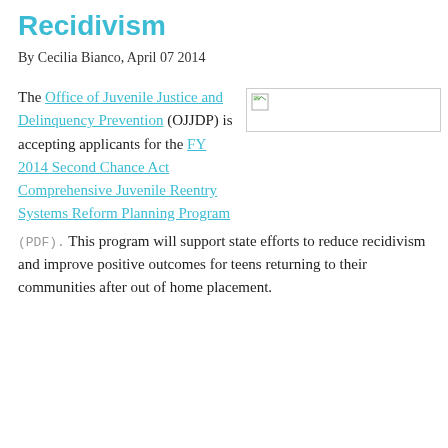Recidivism
By Cecilia Bianco, April 07 2014
The Office of Juvenile Justice and Delinquency Prevention (OJJDP) is accepting applicants for the FY 2014 Second Chance Act Comprehensive Juvenile Reentry Systems Reform Planning Program (PDF). This program will support state efforts to reduce recidivism and improve positive outcomes for teens returning to their communities after out of home placement.
[Figure (other): Broken image placeholder with small icon in top-left corner]